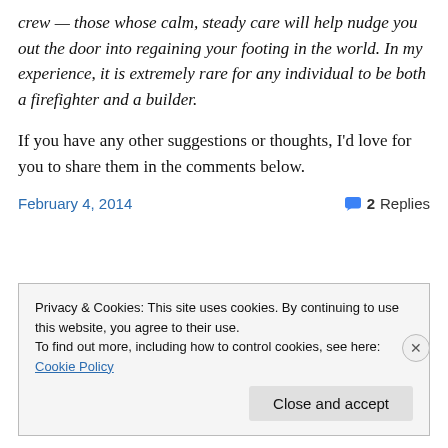crew — those whose calm, steady care will help nudge you out the door into regaining your footing in the world. In my experience, it is extremely rare for any individual to be both a firefighter and a builder.
If you have any other suggestions or thoughts, I'd love for you to share them in the comments below.
February 4, 2014    2 Replies
Privacy & Cookies: This site uses cookies. By continuing to use this website, you agree to their use. To find out more, including how to control cookies, see here: Cookie Policy
Close and accept